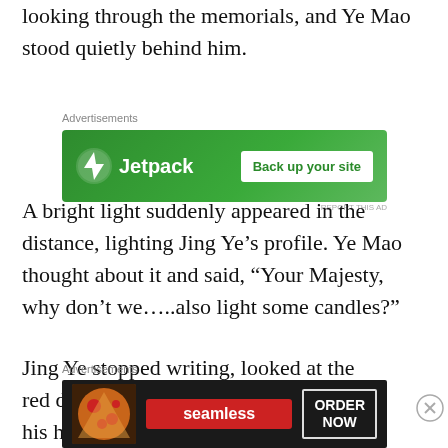looking through the memorials, and Ye Mao stood quietly behind him.
[Figure (screenshot): Jetpack advertisement banner with green background, Jetpack logo on left and 'Back up your site' button on right]
A bright light suddenly appeared in the distance, lighting Jing Ye’s profile. Ye Mao thought about it and said, “Your Majesty, why don’t we…..also light some candles?”
Jing Ye stopped writing, looked at the red dotted sky in the distance, and shook his head:
[Figure (screenshot): Seamless food delivery advertisement with pizza image, seamless logo, and ORDER NOW button]